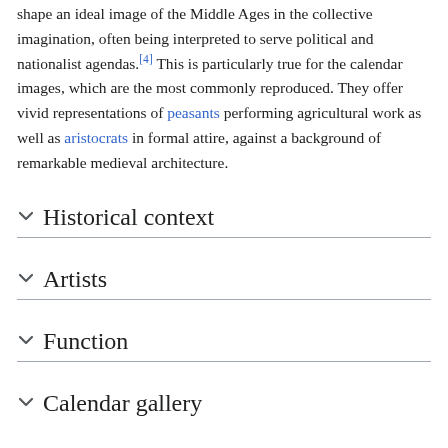shape an ideal image of the Middle Ages in the collective imagination, often being interpreted to serve political and nationalist agendas.[4] This is particularly true for the calendar images, which are the most commonly reproduced. They offer vivid representations of peasants performing agricultural work as well as aristocrats in formal attire, against a background of remarkable medieval architecture.
Historical context
Artists
Function
Calendar gallery